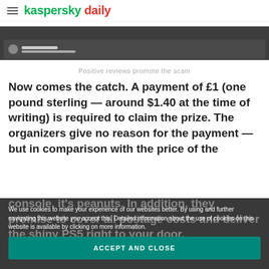kaspersky daily
[Figure (screenshot): Dark screenshot of a webpage with user avatar and text lines]
Positive reviews promote the scam
Now comes the catch. A payment of £1 (one pound sterling — around $1.40 at the time of writing) is required to claim the prize. The organizers give no reason for the payment — but in comparison with the price of the console, it's peanuts. In addition, they promise to cover all postage costs and deliver the shiny PS5 right to your door.
We use cookies to make your experience of our websites better. By using and further navigating this website you accept this. Detailed information about the use of cookies on this website is available by clicking on more information.
ACCEPT AND CLOSE